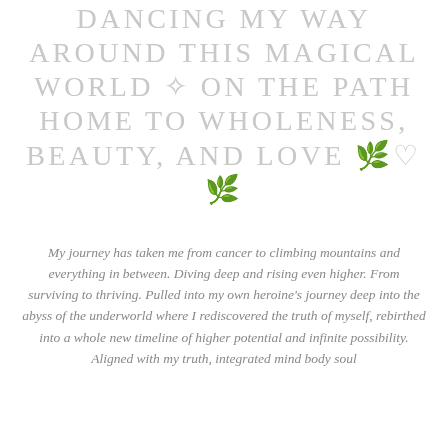DANCING MY WAY AROUND THIS MAGICAL WORLD ✧ ON THE PATH HOME TO WHOLENESS, BEAUTY, AND LOVE 🌿♡🌿
My journey has taken me from cancer to climbing mountains and everything in between. Diving deep and rising even higher. From surviving to thriving. Pulled into my own heroine's journey deep into the abyss of the underworld where I rediscovered the truth of myself, rebirthed into a whole new timeline of higher potential and infinite possibility. Aligned with my truth, integrated mind body soul